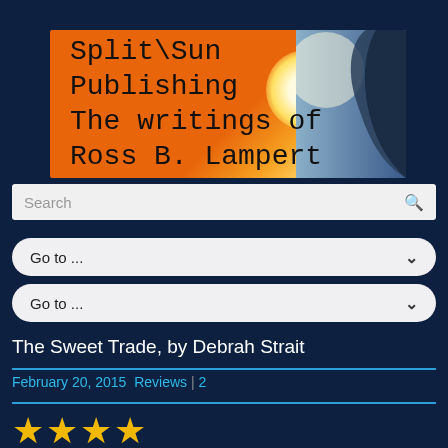[Figure (logo): Split\Sun Publishing logo banner with orange/sun gradient background and dark rocky silhouette. Text reads: Split\Sun Publishing The writings of Ross B. Lampert]
Search
Go to ...
Go to ...
The Sweet Trade, by Debrah Strait
February 20, 2015 Reviews | 2
[Figure (other): Four gold star rating icons]